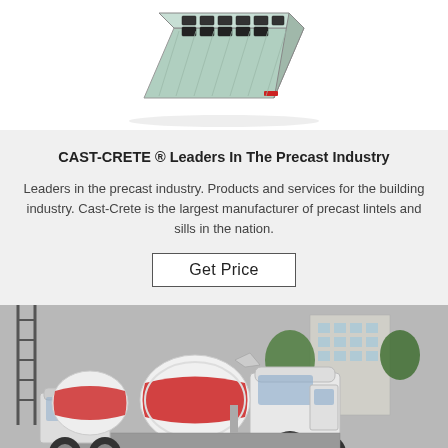[Figure (photo): Precast concrete lintel/sill product shown at an angle, light green color with dark rectangular insets on top surface]
CAST-CRETE ® Leaders In The Precast Industry
Leaders in the precast industry. Products and services for the building industry. Cast-Crete is the largest manufacturer of precast lintels and sills in the nation.
Get Price
[Figure (photo): Two white concrete mixer trucks with red stripe markings parked at a construction site, building and trees visible in background]